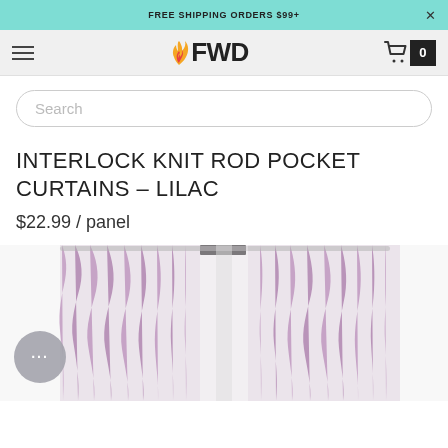FREE SHIPPING ORDERS $99+
[Figure (logo): FWD store logo with flame icon, hamburger menu, and cart badge showing 0]
Search
INTERLOCK KNIT ROD POCKET CURTAINS – LILAC
$22.99 / panel
[Figure (photo): Lilac/mauve rod pocket curtains hanging on a rod, two panels shown gathered at top]